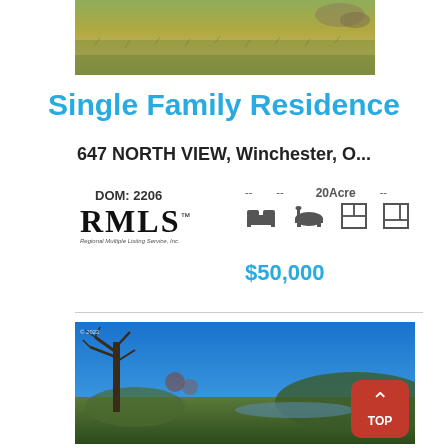[Figure (photo): Aerial photo of a grassy field/land, brownish-green tones]
Single Family Residence
647 NORTH VIEW, Winchester, O...
DOM: 2206
[Figure (logo): RMLS Regional Multiple Listing Service, Inc. logo]
-- -- 20Acre --
$50,000
[Figure (photo): Photo of property land with blue sky and bare trees, landscape view]